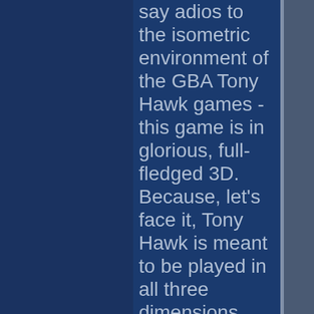say adios to the isometric environment of the GBA Tony Hawk games - this game is in glorious, full-fledged 3D. Because, let's face it, Tony Hawk is meant to be played in all three dimensions. Sure, it's not as pretty as the